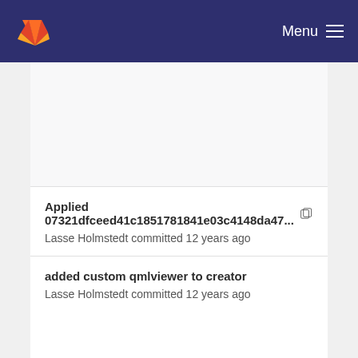Menu
Applied 07321dfceed41c1851781841e03c4148da47...
Lasse Holmstedt committed 12 years ago
added custom qmlviewer to creator
Lasse Holmstedt committed 12 years ago